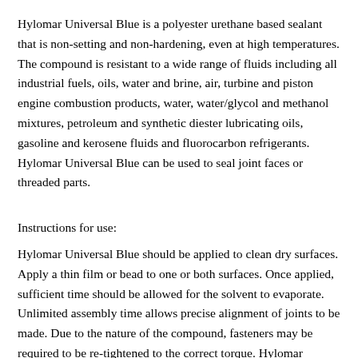Hylomar Universal Blue is a polyester urethane based sealant that is non-setting and non-hardening, even at high temperatures. The compound is resistant to a wide range of fluids including all industrial fuels, oils, water and brine, air, turbine and piston engine combustion products, water, water/glycol and methanol mixtures, petroleum and synthetic diester lubricating oils, gasoline and kerosene fluids and fluorocarbon refrigerants. Hylomar Universal Blue can be used to seal joint faces or threaded parts.
Instructions for use:
Hylomar Universal Blue should be applied to clean dry surfaces. Apply a thin film or bead to one or both surfaces. Once applied, sufficient time should be allowed for the solvent to evaporate. Unlimited assembly time allows precise alignment of joints to be made. Due to the nature of the compound, fasteners may be required to be re-tightened to the correct torque. Hylomar Universal Blue can be